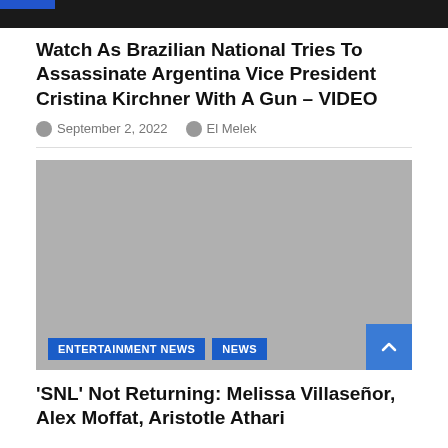[Figure (photo): Top cropped image of people, dark background with blue bar accent]
Watch As Brazilian National Tries To Assassinate Argentina Vice President Cristina Kirchner With A Gun – VIDEO
September 2, 2022   El Melek
[Figure (photo): Gray placeholder image with ENTERTAINMENT NEWS and NEWS category tags and a scroll-to-top button]
'SNL' Not Returning: Melissa Villaseñor, Alex Moffat, Aristotle Athari